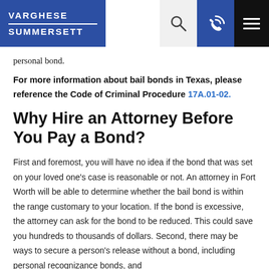VARGHESE SUMMERSETT
personal bond.
For more information about bail bonds in Texas, please reference the Code of Criminal Procedure 17A.01-02.
Why Hire an Attorney Before You Pay a Bond?
First and foremost, you will have no idea if the bond that was set on your loved one’s case is reasonable or not. An attorney in Fort Worth will be able to determine whether the bail bond is within the range customary to your location. If the bond is excessive, the attorney can ask for the bond to be reduced. This could save you hundreds to thousands of dollars. Second, there may be ways to secure a person’s release without a bond, including personal recognizance bonds, and